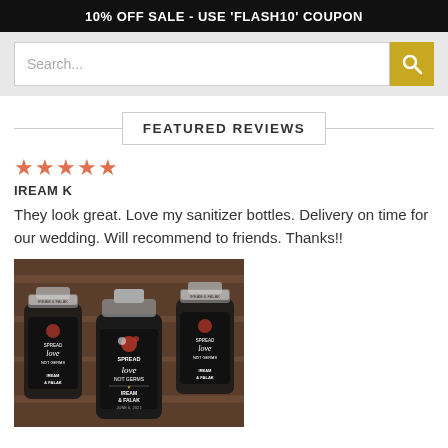10% OFF SALE - USE 'FLASH10' COUPON
Search...
FEATURED REVIEWS
IREAM K
They look great. Love my sanitizer bottles. Delivery on time for our wedding. Will recommend to friends. Thanks!!
[Figure (photo): Photo of multiple custom hand sanitizer bottles with 'Spread Love Not Germs' label showing 'IREAM & FALAK' personalization, arranged on a wooden surface]